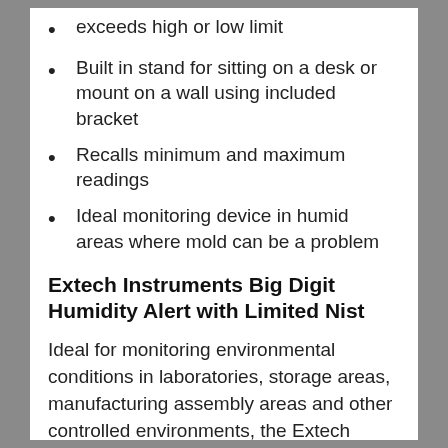exceeds high or low limit
Built in stand for sitting on a desk or mount on a wall using included bracket
Recalls minimum and maximum readings
Ideal monitoring device in humid areas where mold can be a problem
Extech Instruments Big Digit Humidity Alert with Limited Nist
Ideal for monitoring environmental conditions in laboratories, storage areas, manufacturing assembly areas and other controlled environments, the Extech Humidity Alert Meter emits visual and audible warnings when humidity levels exceed high or low limits. The meter features a remote probe